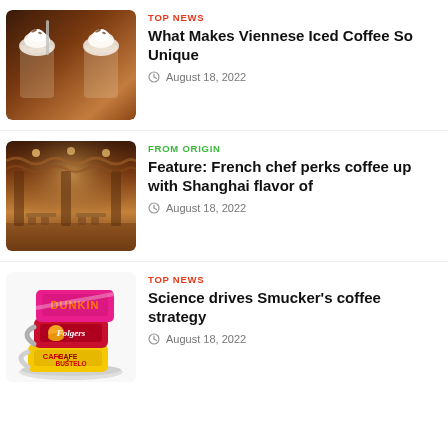[Figure (photo): Two Viennese iced coffees with whipped cream and chocolate shavings in tall glasses]
TOP NEWS
What Makes Viennese Iced Coffee So Unique
August 18, 2022
[Figure (photo): Interior of an upscale coffee shop with warm lighting, wooden decor and seating]
FROM ORIGIN
Feature: French chef perks coffee up with Shanghai flavor of
August 18, 2022
[Figure (photo): Stacked coffee cups with Dunkin, Folgers, and Cafe Bustelo branding on a saucer]
TOP NEWS
Science drives Smucker's coffee strategy
August 18, 2022